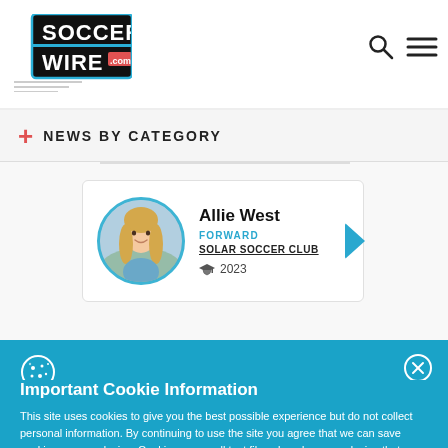[Figure (logo): SoccerWire.com logo with stylized text and speed lines]
NEWS BY CATEGORY
Allie West
FORWARD
SOLAR SOCCER CLUB
2023
Important Cookie Information
This site uses cookies to give you the best possible experience but do not collect personal information. By continuing to use the site you agree that we can save cookies on your device. Cookies are small text files placed on your device that remember your preferences and some details of your visit. For more information and details of how to disable cookies, please read our privacy policy.
ACCEPT